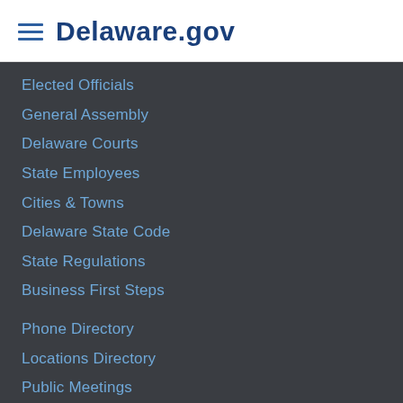Delaware.gov
Elected Officials
General Assembly
Delaware Courts
State Employees
Cities & Towns
Delaware State Code
State Regulations
Business First Steps
Phone Directory
Locations Directory
Public Meetings
Voting & Elections
Transparency
Delaware Marketplace
Tax Center
Personal Income Tax